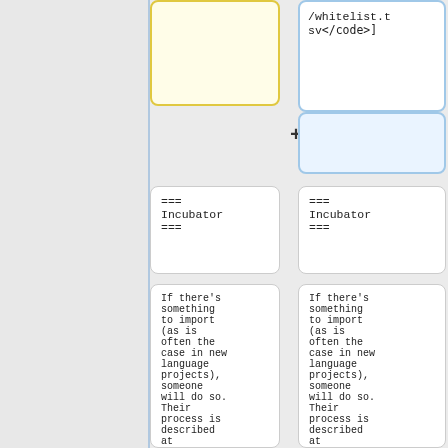/whitelist.tsv</code>]
+
=== Incubator ===
=== Incubator ===
If there's something to import (as is often the case in new language projects), someone will do so. Their process is described at
If there's something to import (as is often the case in new language projects), someone will do so. Their process is described at